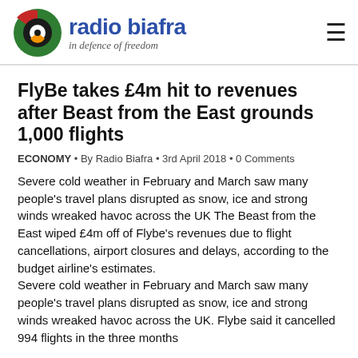radio biafra – in defence of freedom
FlyBe takes £4m hit to revenues after Beast from the East grounds 1,000 flights
ECONOMY • By Radio Biafra • 3rd April 2018 • 0 Comments
Severe cold weather in February and March saw many people's travel plans disrupted as snow, ice and strong winds wreaked havoc across the UK The Beast from the East wiped £4m off of Flybe's revenues due to flight cancellations, airport closures and delays, according to the budget airline's estimates. Severe cold weather in February and March saw many people's travel plans disrupted as snow, ice and strong winds wreaked havoc across the UK. Flybe said it cancelled 994 flights in the three months